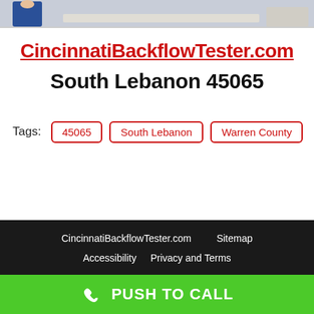[Figure (photo): Partial photo strip showing person in blue clothing and a desk/table in the background]
CincinnatiBackflowTester.com
South Lebanon 45065
Tags: 45065  South Lebanon  Warren County
CincinnatiBackflowTester.com  Sitemap  Accessibility  Privacy and Terms
PUSH TO CALL